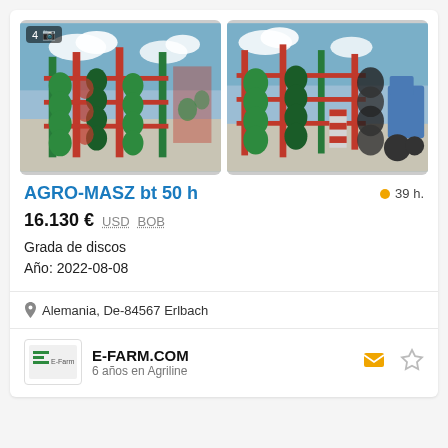[Figure (photo): Agricultural disc harrow AGRO-MASZ with green and red components photographed in a farm yard. Badge shows '4' photos.]
[Figure (photo): Close-up photo of the same AGRO-MASZ disc harrow showing green spiral discs and red frame with a tractor in background.]
AGRO-MASZ bt 50 h
39 h.
16.130 € USD BOB
Grada de discos
Año: 2022-08-08
Alemania, De-84567 Erlbach
E-FARM.COM
6 años en Agriline